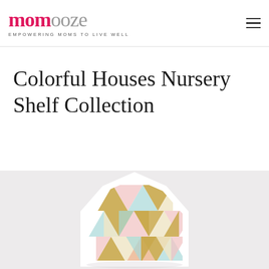momooze — EMPOWERING MOMS TO LIVE WELL
Colorful Houses Nursery Shelf Collection
[Figure (photo): A house-shaped nursery shelf in white with a colorful geometric triangle pattern in gold, pink, and mint colors placed against a light grey background.]